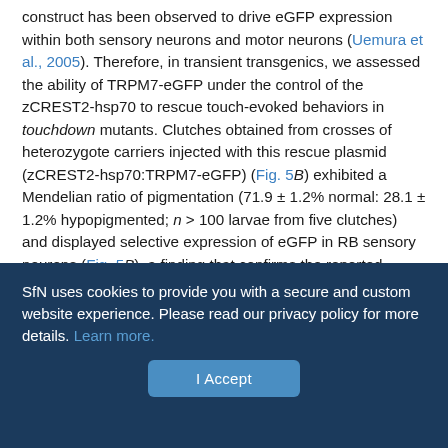construct has been observed to drive eGFP expression within both sensory neurons and motor neurons (Uemura et al., 2005). Therefore, in transient transgenics, we assessed the ability of TRPM7-eGFP under the control of the zCREST2-hsp70 to rescue touch-evoked behaviors in touchdown mutants. Clutches obtained from crosses of heterozygote carriers injected with this rescue plasmid (zCREST2-hsp70:TRPM7-eGFP) (Fig. 5B) exhibited a Mendelian ratio of pigmentation (71.9 ± 1.2% normal: 28.1 ± 1.2% hypopigmented; n > 100 larvae from five clutches) and displayed selective expression of eGFP in RB sensory neurons (Fig. 5B), a finding that confirms the reported sensory neuron specificity of the zCREST2-hsp70 enhancer-promoter construct in transient transgenics. When assayed ~70% of hypopigmented mutant larvae
SfN uses cookies to provide you with a secure and custom website experience. Please read our privacy policy for more details. Learn more.